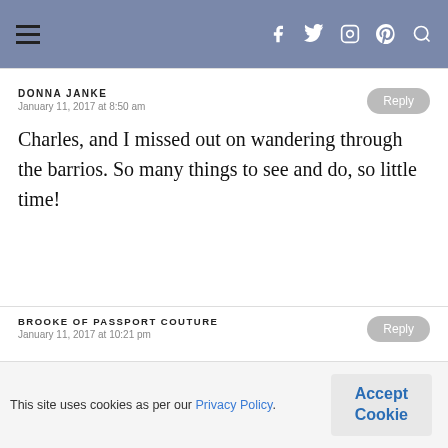≡ f twitter instagram pinterest search
DONNA JANKE
January 11, 2017 at 8:50 am
Charles, and I missed out on wandering through the barrios. So many things to see and do, so little time!
BROOKE OF PASSPORT COUTURE
January 11, 2017 at 10:21 pm
This site uses cookies as per our Privacy Policy.